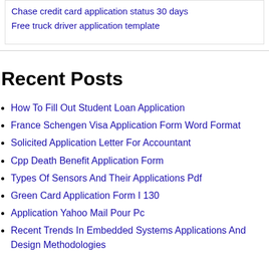Chase credit card application status 30 days
Free truck driver application template
Recent Posts
How To Fill Out Student Loan Application
France Schengen Visa Application Form Word Format
Solicited Application Letter For Accountant
Cpp Death Benefit Application Form
Types Of Sensors And Their Applications Pdf
Green Card Application Form I 130
Application Yahoo Mail Pour Pc
Recent Trends In Embedded Systems Applications And Design Methodologies